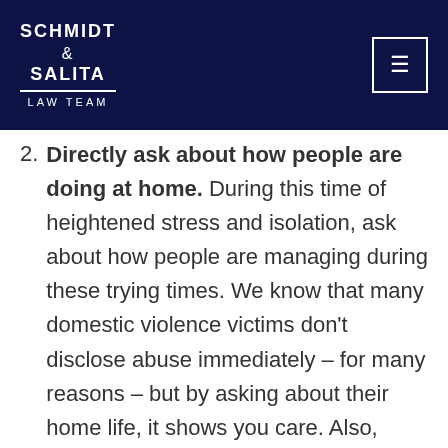SCHMIDT & SALITA LAW TEAM
2. Directly ask about how people are doing at home. During this time of heightened stress and isolation, ask about how people are managing during these trying times. We know that many domestic violence victims don't disclose abuse immediately – for many reasons – but by asking about their home life, it shows you care. Also, there are many other things a person you are working with could be struggling with – including mental health, finances, job insecurity, or